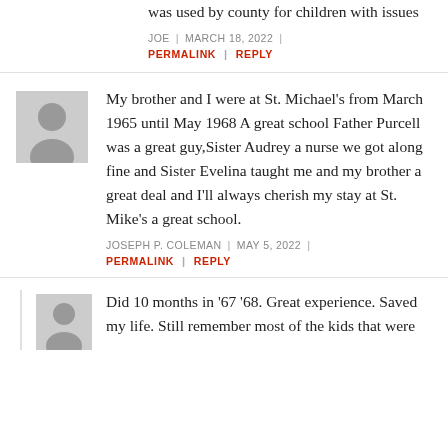was used by county for children with issues
JOE | MARCH 18, 2022 |
PERMALINK | REPLY
[Figure (illustration): Gray avatar placeholder icon showing a silhouette of a person]
My brother and I were at St. Michael’s from March 1965 until May 1968 A great school Father Purcell was a great guy,Sister Audrey a nurse we got along fine and Sister Evelina taught me and my brother a great deal and I’ll always cherish my stay at St. Mike’s a great school.
JOSEPH P. COLEMAN | MAY 5, 2022 |
PERMALINK | REPLY
[Figure (illustration): Gray avatar placeholder icon showing a silhouette of a person, smaller size]
Did 10 months in ’67 ’68. Great experience. Saved my life. Still remember most of the kids that were